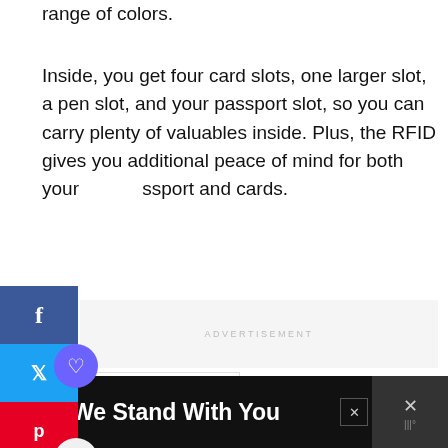range of colors.
Inside, you get four card slots, one larger slot, a pen slot, and your passport slot, so you can carry plenty of valuables inside. Plus, the RFID gives you additional peace of mind for both your passport and cards.
ADVERTISEMENT
WHAT'S NEXT → Passport and Visa
[Figure (infographic): Bottom advertisement banner with Ukrainian flag colors (blue and yellow), text 'We Stand With You', a close button, and a right-side icon area with X and dots pattern on dark background.]